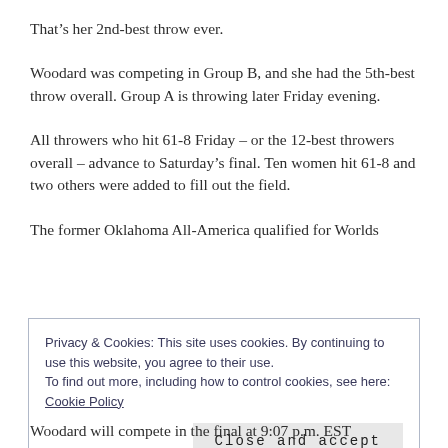That’s her 2nd-best throw ever.
Woodard was competing in Group B, and she had the 5th-best throw overall. Group A is throwing later Friday evening.
All throwers who hit 61-8 Friday – or the 12-best throwers overall – advance to Saturday’s final. Ten women hit 61-8 and two others were added to fill out the field.
The former Oklahoma All-America qualified for Worlds
Privacy & Cookies: This site uses cookies. By continuing to use this website, you agree to their use.
To find out more, including how to control cookies, see here: Cookie Policy
Close and accept
Woodard will compete in the final at 9:07 p.m. EST